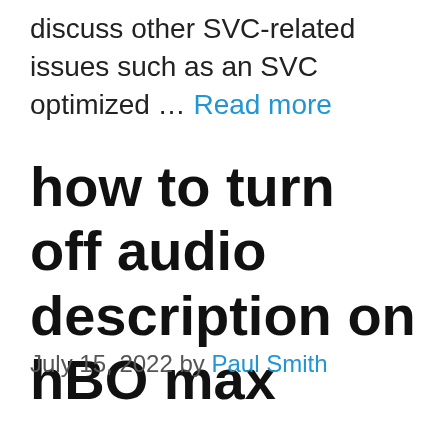discuss other SVC-related issues such as an SVC optimized … Read more
how to turn off audio description on hBO max
July 15, 2022 by Paul Smith